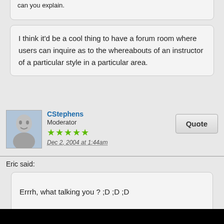can you explain.
I think it'd be a cool thing to have a forum room where users can inquire as to the whereabouts of an instructor of a particular style in a particular area.
CStephens
Moderator
Dec 2, 2004 at 1:44am
Eric said:
Errrh, what talking you ? ;D ;D ;D
It'd be super-cool if we had a resource for finding instructors of certain arts